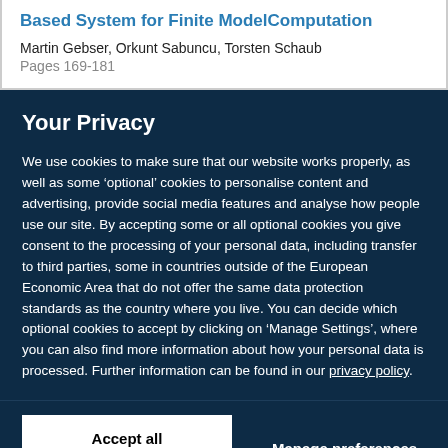Based System for Finite ModelComputation
Martin Gebser, Orkunt Sabuncu, Torsten Schaub
Pages 169-181
Your Privacy
We use cookies to make sure that our website works properly, as well as some ‘optional’ cookies to personalise content and advertising, provide social media features and analyse how people use our site. By accepting some or all optional cookies you give consent to the processing of your personal data, including transfer to third parties, some in countries outside of the European Economic Area that do not offer the same data protection standards as the country where you live. You can decide which optional cookies to accept by clicking on ‘Manage Settings’, where you can also find more information about how your personal data is processed. Further information can be found in our privacy policy.
Accept all cookies
Manage preferences